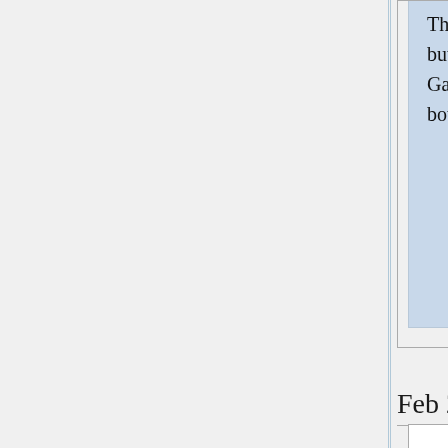There are also natural Shimura varieties without a moduli interpretation, but they have other advantages: for example, they appear in the arithmetic Gan-Gross-Prasad conjecture, and those which enjoy good properties from both perspectives are studied by Zhang.
Feb 20
[Figure (other): Pink colored block (header/title area of a card, cropped)]
Ramanujan
The Generalized Ramanujan Conjecture is a central problem in modern number theory. The (GRC) is k...